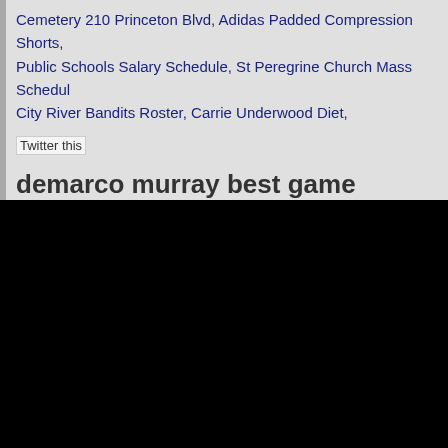Cemetery 210 Princeton Blvd, Adidas Padded Compression Shorts, Public Schools Salary Schedule, St Peregrine Church Mass Schedule, City River Bandits Roster, Carrie Underwood Diet,
[Figure (other): Broken image placeholder with alt text 'Twitter this']
demarco murray best game